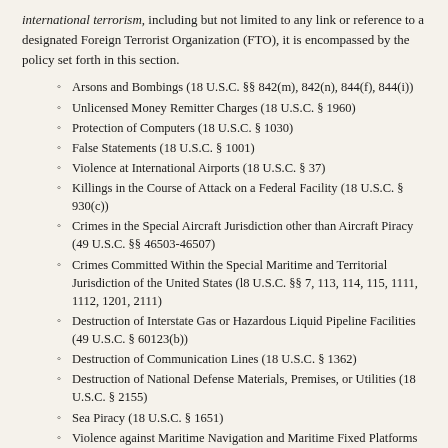international terrorism, including but not limited to any link or reference to a designated Foreign Terrorist Organization (FTO), it is encompassed by the policy set forth in this section.
Arsons and Bombings (18 U.S.C. §§ 842(m), 842(n), 844(f), 844(i))
Unlicensed Money Remitter Charges (18 U.S.C. § 1960)
Protection of Computers (18 U.S.C. § 1030)
False Statements (18 U.S.C. § 1001)
Violence at International Airports (18 U.S.C. § 37)
Killings in the Course of Attack on a Federal Facility (18 U.S.C. § 930(c))
Crimes in the Special Aircraft Jurisdiction other than Aircraft Piracy (49 U.S.C. §§ 46503-46507)
Crimes Committed Within the Special Maritime and Territorial Jurisdiction of the United States (l8 U.S.C. §§ 7, 113, 114, 115, 1111, 1112, 1201, 2111)
Destruction of Interstate Gas or Hazardous Liquid Pipeline Facilities (49 U.S.C. § 60123(b))
Destruction of Communication Lines (18 U.S.C. § 1362)
Destruction of National Defense Materials, Premises, or Utilities (18 U.S.C. § 2155)
Sea Piracy (18 U.S.C. § 1651)
Violence against Maritime Navigation and Maritime Fixed Platforms (18 U.S.C. §§ 2280, 2281)